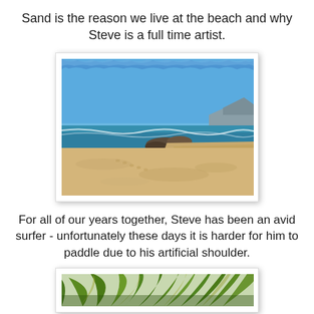Sand is the reason we live at the beach and why Steve is a full time artist.
[Figure (photo): Beach scene with wide sandy beach, ocean waves, rocks, and mountains in background under clear blue sky. Photo has white border/frame with slightly torn/rough blue edge effect at top.]
For all of our years together, Steve has been an avid surfer - unfortunately these days it is harder for him to paddle due to his artificial shoulder.
[Figure (photo): Partial view of palm tree fronds, green and yellow, viewed from below against a light background.]